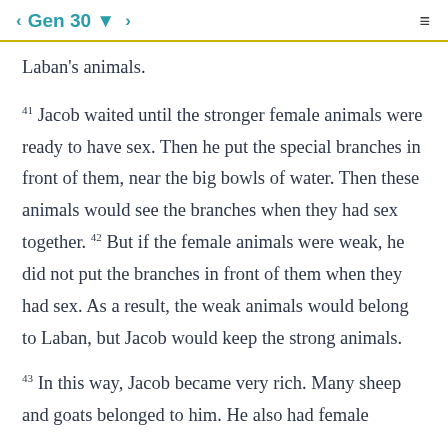< Gen 30 ▼ >
Laban's animals.
41 Jacob waited until the stronger female animals were ready to have sex. Then he put the special branches in front of them, near the big bowls of water. Then these animals would see the branches when they had sex together. 42 But if the female animals were weak, he did not put the branches in front of them when they had sex. As a result, the weak animals would belong to Laban, but Jacob would keep the strong animals.
43 In this way, Jacob became very rich. Many sheep and goats belonged to him. He also had female